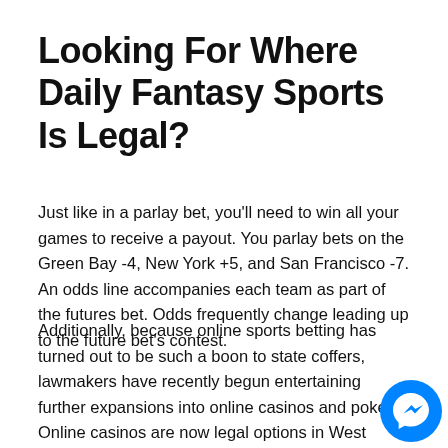Looking For Where Daily Fantasy Sports Is Legal?
Just like in a parlay bet, you'll need to win all your games to receive a payout. You parlay bets on the Green Bay -4, New York +5, and San Francisco -7. An odds line accompanies each team as part of the futures bet. Odds frequently change leading up to the future bet's contest.
Additionally, because online sports betting has turned out to be such a boon to state coffers, lawmakers have recently begun entertaining further expansions into online casinos and poker. Online casinos are now legal options in West Virginia, Pennsylvania, Michigan, and Connecticut. Online poker is available or soon to be available in those areas, too,
[Figure (illustration): Facebook Messenger chat icon — a blue circle with a white lightning-bolt-style chat bubble icon]